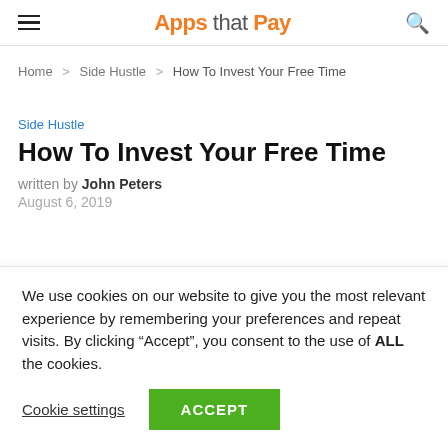Apps that Pay
Home > Side Hustle > How To Invest Your Free Time
Side Hustle
How To Invest Your Free Time
written by John Peters
August 6, 2019
We use cookies on our website to give you the most relevant experience by remembering your preferences and repeat visits. By clicking “Accept”, you consent to the use of ALL the cookies.
Cookie settings  ACCEPT